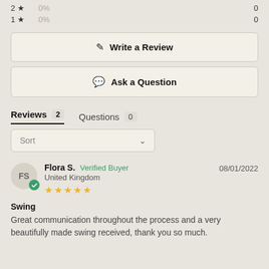2 ★  0%  0
1 ★  0%  0
✎  Write a Review
💬  Ask a Question
Reviews 2   Questions 0
Sort
Flora S.  Verified Buyer  08/01/2022  United Kingdom  ★★★★★
Swing
Great communication throughout the process and a very beautifully made swing received, thank you so much.